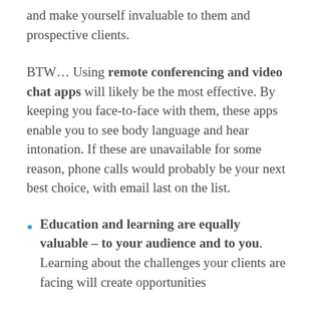and make yourself invaluable to them and prospective clients.
BTW… Using remote conferencing and video chat apps will likely be the most effective. By keeping you face-to-face with them, these apps enable you to see body language and hear intonation. If these are unavailable for some reason, phone calls would probably be your next best choice, with email last on the list.
Education and learning are equally valuable – to your audience and to you. Learning about the challenges your clients are facing will create opportunities